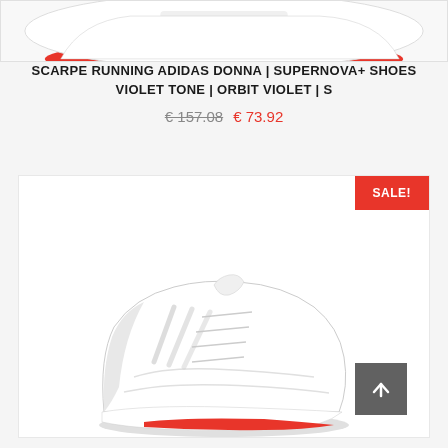[Figure (photo): Top portion of Adidas running shoe, white with red sole, cropped at top]
SCARPE RUNNING ADIDAS DONNA | SUPERNOVA+ SHOES VIOLET TONE | ORBIT VIOLET | S
€ 157.08  € 73.92
[Figure (photo): Adidas women's white running shoe with pink/red accent, shown from side angle. SALE! badge in red top-right corner. Scroll-to-top button in grey bottom-right.]